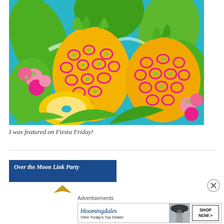[Figure (illustration): Colorful tropical illustration featuring large pineapples with pink and green markings, tropical leaves in green, and pink flowers on a teal/turquoise background — a decorative pattern artwork]
I was featured on Fiesta Friday!
[Figure (other): Over the Moon Link Party banner — dark blue rectangle with italic bold white text 'Over the Moon Link Party' and a gold/orange diamond shape below]
[Figure (other): Close/dismiss button (circled X) on the right side]
Advertisements
[Figure (other): Bloomingdale's advertisement banner: bloomingdales logo with 'View Today's Top Deals!' on left, model image in center, and 'SHOP NOW >' button on right]